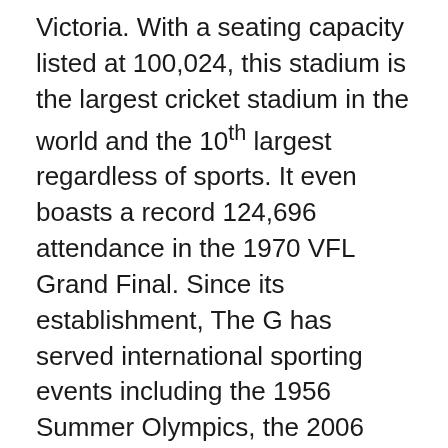Victoria. With a seating capacity listed at 100,024, this stadium is the largest cricket stadium in the world and the 10th largest regardless of sports. It even boasts a record 124,696 attendance in the 1970 VFL Grand Final. Since its establishment, The G has served international sporting events including the 1956 Summer Olympics, the 2006 Commonwealth Games, and the 1992 and 2015 Cricket World Cups. It is also the location of Australia's National Sports Museum. In addition, it is home to both the Australian Football League and the Australia national cricket team.
For more on the latest casino news, sports updates and related articles, follow our blog. Furthermore, if you want to play the latest online games, register at JeetWin now.